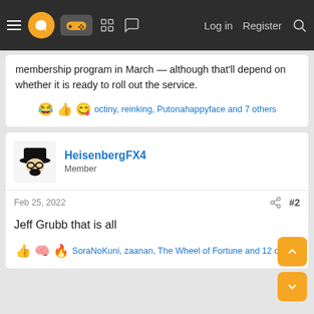Navigation bar with hamburger menu, logo, gamepad icon, forum icons, Log in, Register, Search
membership program in March — although that'll depend on whether it is ready to roll out the service.
😂 👍 😋 octiny, reinking, Putonahappyface and 7 others
HeisenbergFX4
Member
Feb 25, 2022
#2
Jeff Grubb that is all
👍 🧠 🔥 SoraNoKuni, zaanan, The Wheel of Fortune and 12 others